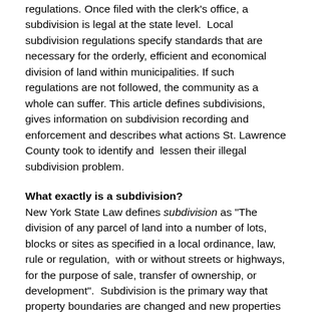regulations. Once filed with the clerk's office, a subdivision is legal at the state level. Local subdivision regulations specify standards that are necessary for the orderly, efficient and economical division of land within municipalities. If such regulations are not followed, the community as a whole can suffer. This article defines subdivisions, gives information on subdivision recording and enforcement and describes what actions St. Lawrence County took to identify and lessen their illegal subdivision problem.
What exactly is a subdivision?
New York State Law defines subdivision as "The division of any parcel of land into a number of lots, blocks or sites as specified in a local ordinance, law, rule or regulation, with or without streets or highways, for the purpose of sale, transfer of ownership, or development". Subdivision is the primary way that property boundaries are changed and new properties created.
Before being created, subdivisions are normally described on paper by what is known as a "plat". A plat is simply a plan for